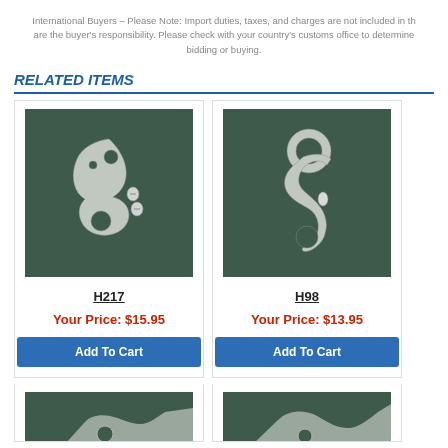International Buyers – Please Note: Import duties, taxes, and charges are not included in the item price or shipping cost. These charges are the buyer's responsibility. Please check with your country's customs office to determine what these additional costs will be prior to bidding or buying.
RELATED ITEMS
[Figure (photo): Bicycle derailleur hanger H217 - silver metal hook-shaped part with two screws on dark green background]
H217
Your Price: $15.95
Add To Cart
[Figure (photo): Bicycle derailleur hanger H98 - silver metal S-shaped hook part on dark green background]
H98
Your Price: $13.95
Add To Cart
[Figure (photo): Bicycle derailleur hanger - partially visible silver metal part on dark green background (bottom row left)]
[Figure (photo): Bicycle derailleur hanger - partially visible silver metal part on dark green background (bottom row right)]